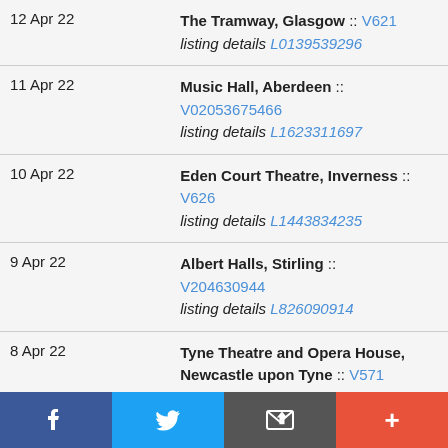| Date | Venue |
| --- | --- |
| 12 Apr 22 | The Tramway, Glasgow :: V621
listing details L0139539296 |
| 11 Apr 22 | Music Hall, Aberdeen ::
V02053675466
listing details L1623311697 |
| 10 Apr 22 | Eden Court Theatre, Inverness :: V626
listing details L1443834235 |
| 9 Apr 22 | Albert Halls, Stirling ::
V204630944
listing details L826090914 |
| 8 Apr 22 | Tyne Theatre and Opera House, Newcastle upon Tyne :: V571
listing details L01933821499 |
| 5 Apr 22 | Victoria Theatre, Halifax :: V969
listing details L0797368951 |
| 4 Apr 22 | Leadmill, Sheffield :: V0965626995
listing details L01160252384 |
[Figure (infographic): Social media sharing bar with Facebook, Twitter, email/bookmark, and plus buttons]